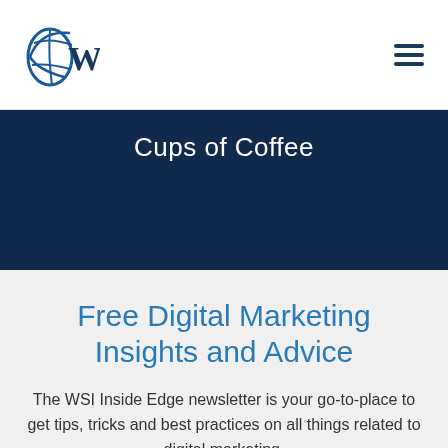WSI
Cups of Coffee
Free Digital Marketing Insights and Advice
The WSI Inside Edge newsletter is your go-to-place to get tips, tricks and best practices on all things related to digital marketing.